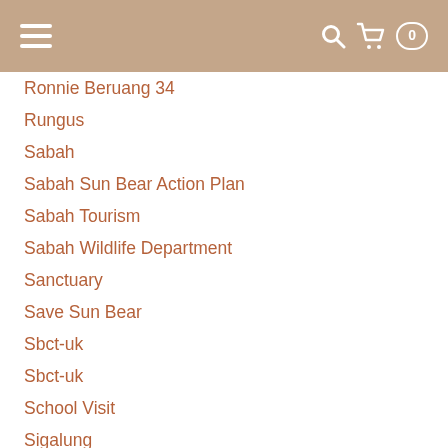Navigation header with hamburger menu, search icon, cart icon, and badge showing 0
Ronnie Beruang 34
Rungus
Sabah
Sabah Sun Bear Action Plan
Sabah Tourism
Sabah Wildlife Department
Sanctuary
Save Sun Bear
Sbct-uk
Sbct-uk
School Visit
Sigalung
Sika
Simone
Soo
Staff
Sun Bear
Sun Bear In A Wild
Sun Bear In The News